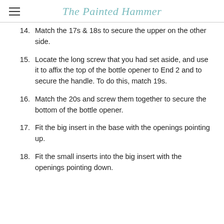The Painted Hammer
14. Match the 17s & 18s to secure the upper on the other side.
15. Locate the long screw that you had set aside, and use it to affix the top of the bottle opener to End 2 and to secure the handle. To do this, match 19s.
16. Match the 20s and screw them together to secure the bottom of the bottle opener.
17. Fit the big insert in the base with the openings pointing up.
18. Fit the small inserts into the big insert with the openings pointing down.